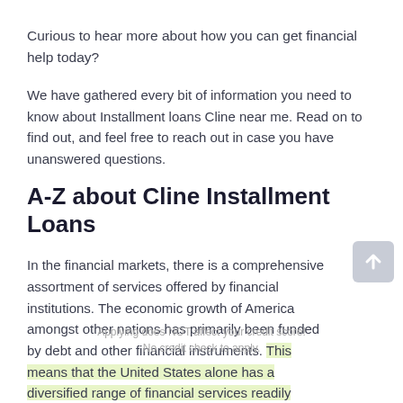Curious to hear more about how you can get financial help today?
We have gathered every bit of information you need to know about Installment loans Cline near me. Read on to find out, and feel free to reach out in case you have unanswered questions.
A-Z about Cline Installment Loans
In the financial markets, there is a comprehensive assortment of services offered by financial institutions. The economic growth of America amongst other nations has primarily been funded by debt and other financial instruments. This means that the United States alone has a diversified range of financial services readily available for different consumers.
One of these financial instruments that are quickly gaining